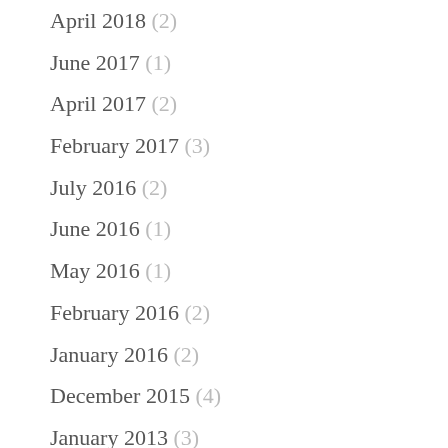April 2018 (2)
June 2017 (1)
April 2017 (2)
February 2017 (3)
July 2016 (2)
June 2016 (1)
May 2016 (1)
February 2016 (2)
January 2016 (2)
December 2015 (4)
January 2013 (3)
Categories
Agile (1)